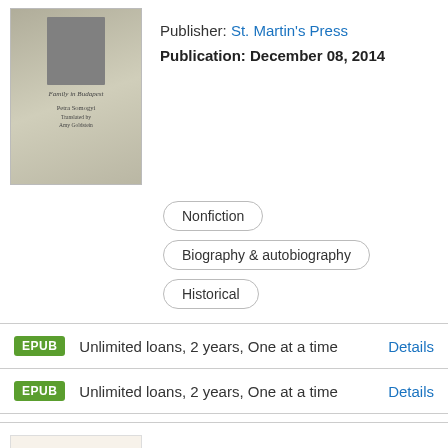[Figure (illustration): Book cover showing a black and white photograph of a man in a suit with overlaid text and another figure]
Publisher: St. Martin's Press
Publication: December 08, 2014
Nonfiction
Biography & autobiography
Historical
EPUB  Unlimited loans, 2 years, One at a time  Details
EPUB  Unlimited loans, 2 years, One at a time  Details
[Figure (illustration): Book cover for Zibaldone showing a large red letter Z on a cream background]
Zibaldone
by Giacomo Leopardi (Author),